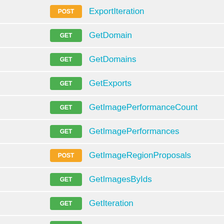POST ExportIteration
GET GetDomain
GET GetDomains
GET GetExports
GET GetImagePerformanceCount
GET GetImagePerformances
POST GetImageRegionProposals
GET GetImagesByIds
GET GetIteration
GET GetIterationPerformance
GET GetIterations